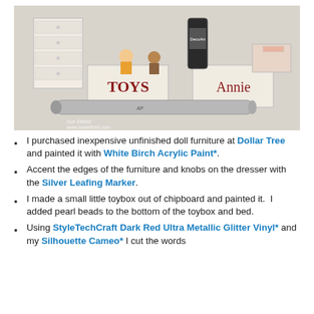[Figure (photo): Photo of miniature doll furniture including a white dresser, a toybox labeled 'TOYS', a box labeled 'Annie', a small bed, figurines of a girl and bear, a DecoArt paint bottle, and a silver metallic marker pen. Watermark reads 'Sue Eldred www.sueeldred.com'.]
I purchased inexpensive unfinished doll furniture at Dollar Tree and painted it with White Birch Acrylic Paint*.
Accent the edges of the furniture and knobs on the dresser with the Silver Leafing Marker.
I made a small little toybox out of chipboard and painted it. I added pearl beads to the bottom of the toybox and bed.
Using StyleTechCraft Dark Red Ultra Metallic Glitter Vinyl* and my Silhouette Cameo* I cut the words